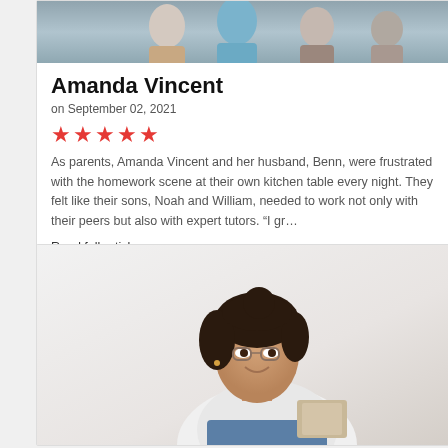[Figure (photo): Group photo of people at a table, partially visible at top]
Amanda Vincent
on September 02, 2021
[Figure (infographic): Five red stars rating]
As parents, Amanda Vincent and her husband, Benn, were frustrated with the homework scene at their own kitchen table every night. They felt like their sons, Noah and William, needed to work not only with their peers but also with expert tutors. “I gr…
Read full article
[Figure (photo): Young woman with glasses and dark hair sitting and reading a book, smiling]